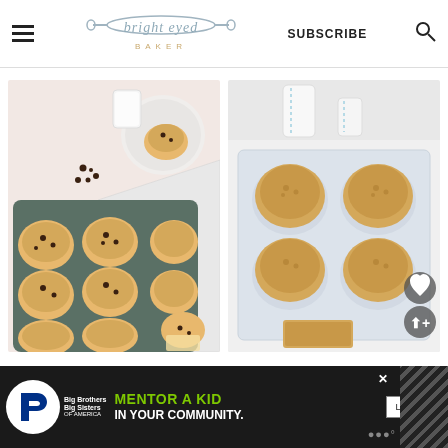bright eyed BAKER — SUBSCRIBE [search icon]
[Figure (photo): Overhead view of chocolate chip muffins in a dark muffin tin, with a plate holding one muffin, scattered chocolate chips, and a glass of milk on a pink surface with a white cloth.]
[Figure (photo): Overhead view of banana-nut or streusel-topped muffins in a glass baking dish, with two glasses of milk with striped straws on a white cloth, with heart and share icons.]
[Figure (photo): Advertisement banner: Big Brothers Big Sisters - MENTOR A KID IN YOUR COMMUNITY. Learn How button.]